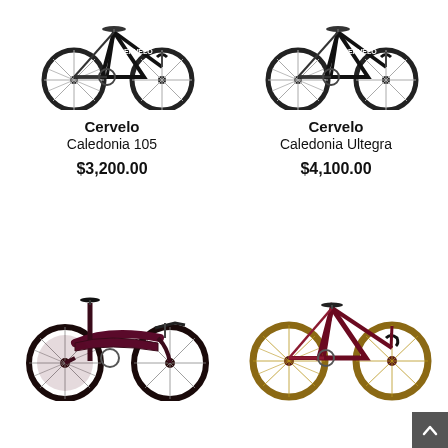[Figure (photo): Cervelo Caledonia 105 road bike in black/white colorway, top-left]
[Figure (photo): Cervelo Caledonia Ultegra road bike in black/white colorway, top-right]
Cervelo
Caledonia 105
$3,200.00
Cervelo
Caledonia Ultegra
$4,100.00
[Figure (photo): Cervelo triathlon/TT bike in dark burgundy/black colorway, bottom-left]
[Figure (photo): Cervelo road bike in dark burgundy with tan/brown wheels, bottom-right]